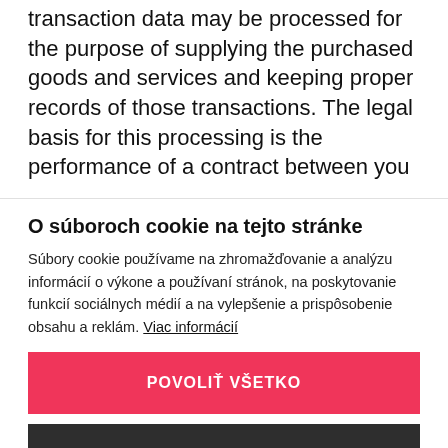transaction data may be processed for the purpose of supplying the purchased goods and services and keeping proper records of those transactions. The legal basis for this processing is the performance of a contract between you
O súboroch cookie na tejto stránke
Súbory cookie používame na zhromažďovanie a analýzu informácií o výkone a používaní stránok, na poskytovanie funkcií sociálnych médií a na vylepšenie a prispôsobenie obsahu a reklám. Viac informácií
POVOLIŤ VŠETKO
NASTAVENIA